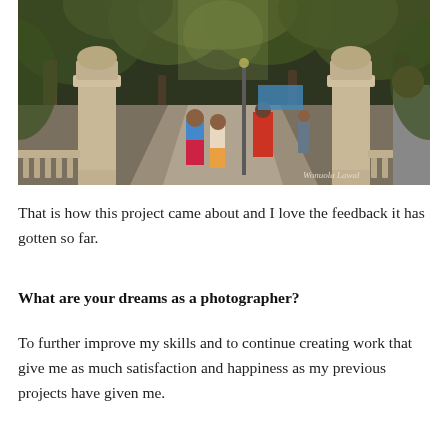[Figure (photo): Park pathway with stone pillars/urns on either side, trees lining the path, people walking, children in the foreground, watermark 'Wonuola Lawal' at bottom right]
That is how this project came about and I love the feedback it has gotten so far.
What are your dreams as a photographer?
To further improve my skills and to continue creating work that give me as much satisfaction and happiness as my previous projects have given me.